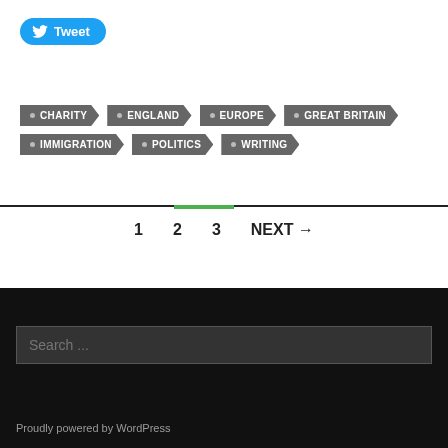[Figure (other): Tweet button with Twitter bird logo]
CHARITY
ENGLAND
EUROPE
GREAT BRITAIN
IMMIGRATION
POLITICS
WRITING
1  2  3  NEXT →
Search ...
Proudly powered by WordPress